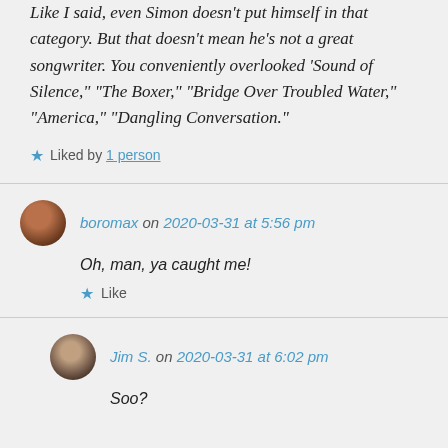Like I said, even Simon doesn't put himself in that category. But that doesn't mean he's not a great songwriter. You conveniently overlooked 'Sound of Silence," "The Boxer," "Bridge Over Troubled Water," "America," "Dangling Conversation."
Liked by 1 person
boromax on 2020-03-31 at 5:56 pm
Oh, man, ya caught me!
Like
Jim S. on 2020-03-31 at 6:02 pm
Soo?